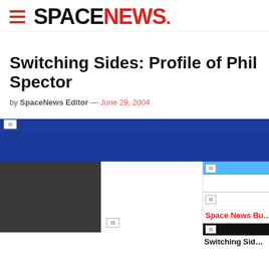SPACENEWS
Switching Sides: Profile of Phil Spector
by SpaceNews Editor — June 29, 2004
[Figure (screenshot): Website content area showing blue navigation banner and article content sections with sidebar elements including 'Space News Bus...' text]